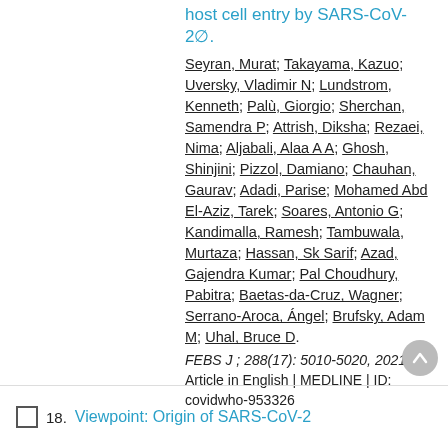host cell entry by SARS-CoV-2⊘.
Seyran, Murat; Takayama, Kazuo; Uversky, Vladimir N; Lundstrom, Kenneth; Palù, Giorgio; Sherchan, Samendra P; Attrish, Diksha; Rezaei, Nima; Aljabali, Alaa A A; Ghosh, Shinjini; Pizzol, Damiano; Chauhan, Gaurav; Adadi, Parise; Mohamed Abd El-Aziz, Tarek; Soares, Antonio G; Kandimalla, Ramesh; Tambuwala, Murtaza; Hassan, Sk Sarif; Azad, Gajendra Kumar; Pal Choudhury, Pabitra; Baetas-da-Cruz, Wagner; Serrano-Aroca, Ángel; Brufsky, Adam M; Uhal, Bruce D.
FEBS J ; 288(17): 5010-5020, 2021 09.
Article in English | MEDLINE | ID: covidwho-953326
Viewpoint: Origin of SARS-CoV-2